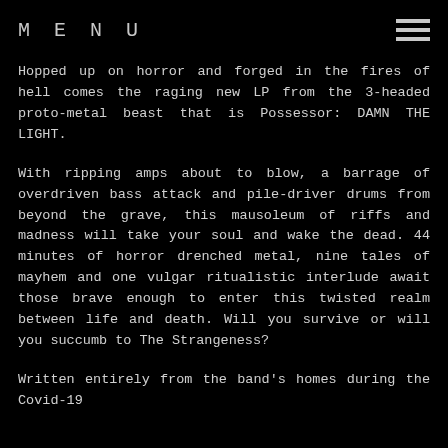MENU
Hopped up on horror and forged in the fires of hell comes the raging new LP from the 3-headed proto-metal beast that is Possessor: DAMN THE LIGHT.
With ripping amps about to blow, a barrage of overdriven bass attack and pile-driver drums from beyond the grave, this mausoleum of riffs and madness will take your soul and wake the dead. 44 minutes of horror drenched metal, nine tales of mayhem and one vulgar ritualistic interlude await those brave enough to enter this twisted realm between life and death. Will you survive or will you succumb to The Strangeness?
Written entirely from the band's homes during the Covid-19